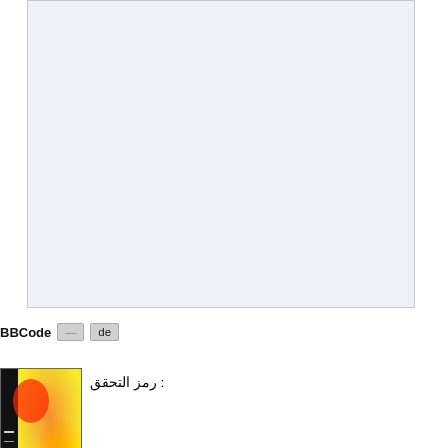[Figure (screenshot): Text input area / textarea with light blue-grey background]
BBCode
رمز التحقق :
[Figure (photo): CAPTCHA image with red/yellow/orange heat-map colors and a black vertical strip on the left]
الرجاء إ... مشاهدة
mit
d by 4images 1.7.6 Copyright © 2002-2022 4homepages.de جنجد نجد باريس صور Copyright ©